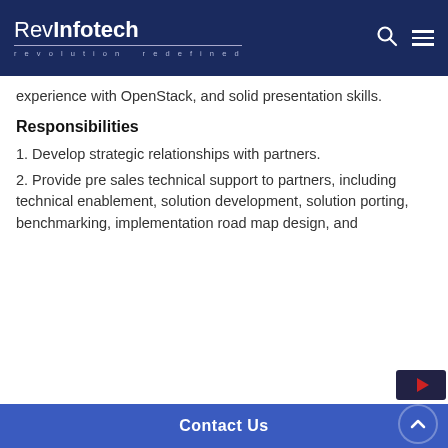RevInfotech — revolution redefined
experience with OpenStack, and solid presentation skills.
Responsibilities
1. Develop strategic relationships with partners.
2. Provide pre sales technical support to partners, including technical enablement, solution development, solution porting, benchmarking, implementation road map design, and
Contact Us